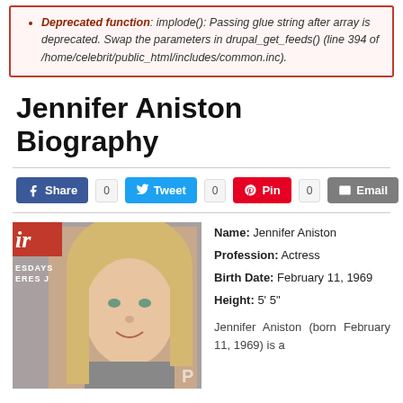Deprecated function: implode(): Passing glue string after array is deprecated. Swap the parameters in drupal_get_feeds() (line 394 of /home/celebrit/public_html/includes/common.inc).
Jennifer Aniston Biography
[Figure (infographic): Social share buttons: Share (Facebook, 0), Tweet (Twitter, 0), Pin (Pinterest, 0), Email (0)]
[Figure (photo): Photo of Jennifer Aniston, a blonde woman smiling, with a red magazine logo partially visible in the upper left corner and letters ESDAYS and ERES J visible.]
Name: Jennifer Aniston
Profession: Actress
Birth Date: February 11, 1969
Height: 5' 5"
Jennifer Aniston (born February 11, 1969) is a